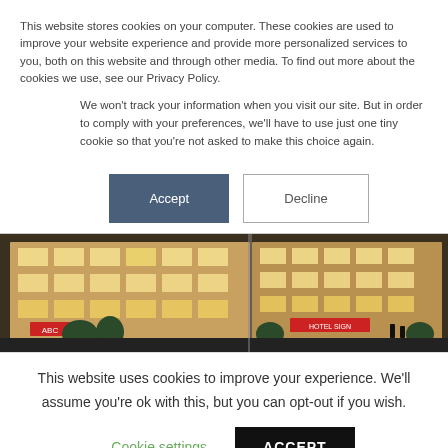This website stores cookies on your computer. These cookies are used to improve your website experience and provide more personalized services to you, both on this website and through other media. To find out more about the cookies we use, see our Privacy Policy.
We won't track your information when you visit our site. But in order to comply with your preferences, we'll have to use just one tiny cookie so that you're not asked to make this choice again.
Accept | Decline
[Figure (photo): Nighttime exterior view of a multi-story hotel or commercial building with illuminated windows and red signage, shown as a composite of two images side by side.]
This website uses cookies to improve your experience. We'll assume you're ok with this, but you can opt-out if you wish.
Cookie settings  ACCEPT